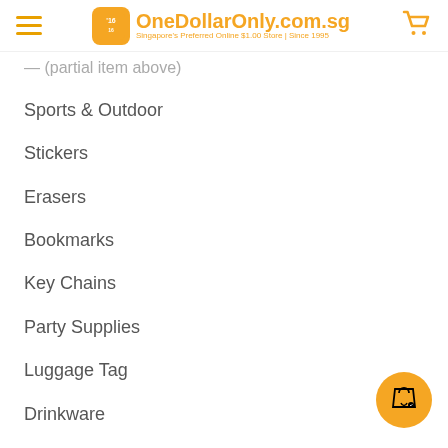OneDollarOnly.com.sg — Singapore's Preferred Online $1.00 Store | Since 1995
Sports & Outdoor
Stickers
Erasers
Bookmarks
Key Chains
Party Supplies
Luggage Tag
Drinkware
Made to Order / Full Custom
CORPORATE GIFTS
All Corporate Gifts
Best Sellers
Outdoor & Hygiene (Care Pack)